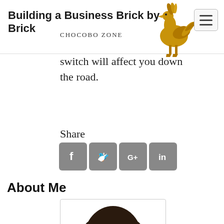Building a Business Brick by Brick — CHOCOBO ZONE
switch will affect you down the road.
Share
[Figure (infographic): Share buttons for Facebook, Twitter, Google+, and LinkedIn]
About Me
[Figure (illustration): Cartoon avatar of a man with long dark hair and beard]